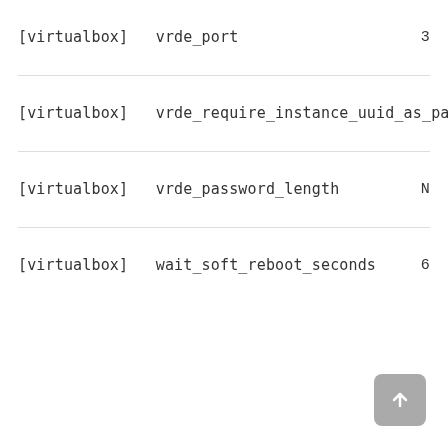[virtualbox]   vrde_port   3
[virtualbox]   vrde_require_instance_uuid_as_password   F
[virtualbox]   vrde_password_length   N
[virtualbox]   wait_soft_reboot_seconds   6